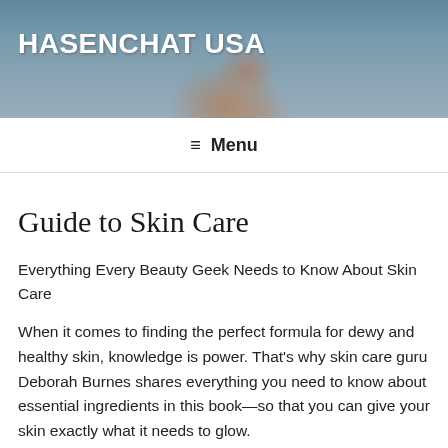[Figure (photo): Website header banner showing a woman's face with blue eyes and headphones, with a blue-gray tinted overlay background]
HASENCHAT USA
≡ Menu
Guide to Skin Care
Everything Every Beauty Geek Needs to Know About Skin Care
When it comes to finding the perfect formula for dewy and healthy skin, knowledge is power. That's why skin care guru Deborah Burnes shares everything you need to know about essential ingredients in this book—so that you can give your skin exactly what it needs to glow.
Whether you're making products for your own use or